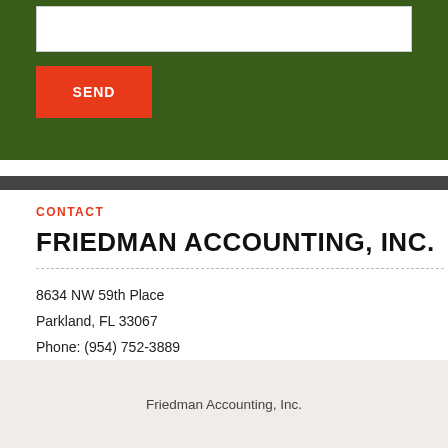[Figure (screenshot): Dark green form section with white input box and red SEND button]
CONTACT
FRIEDMAN ACCOUNTING, INC.
8634 NW 59th Place
Parkland, FL 33067
Phone: (954) 752-3889
Fax: (954) 755-0399   Marc Friedman
Friedman Accounting, Inc.